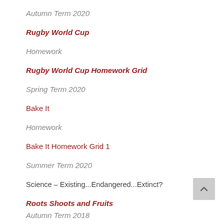Autumn Term 2020
Rugby World Cup
Homework
Rugby World Cup Homework Grid
Spring Term 2020
Bake It
Homework
Bake It Homework Grid 1
Summer Term 2020
Science – Existing...Endangered...Extinct?
Roots Shoots and Fruits
Autumn Term 2018